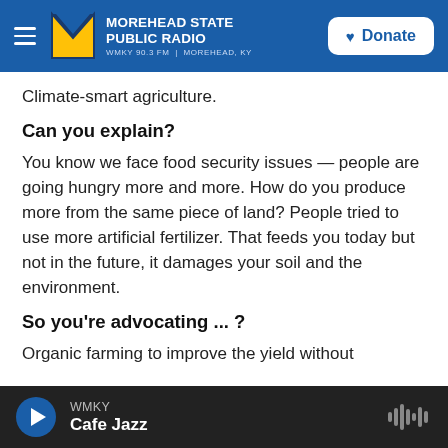MOREHEAD STATE PUBLIC RADIO — WMKY 90.3 FM | MOREHEAD, KY — Donate
Climate-smart agriculture.
Can you explain?
You know we face food security issues — people are going hungry more and more. How do you produce more from the same piece of land? People tried to use more artificial fertilizer. That feeds you today but not in the future, it damages your soil and the environment.
So you're advocating ... ?
Organic farming to improve the yield without
WMKY — Cafe Jazz